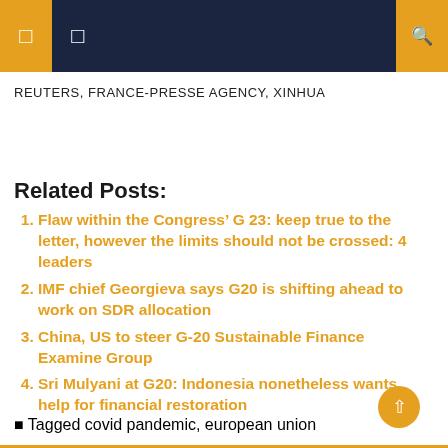REUTERS, FRANCE-PRESSE AGENCY, XINHUA
REUTERS, FRANCE-PRESSE AGENCY, XINHUA
Related Posts:
Flaw within the Congress’ G 23: keep true to the letter, however the limits should not be crossed: 4 leaders
IMF chief Georgieva says G20 is shifting ahead to work on SDR allocation
China, US to steer G-20 Sustainable Finance Examine Group
Sri Mulyani at G20: Indonesia nonetheless wants help for financial restoration
Tagged covid pandemic, european union